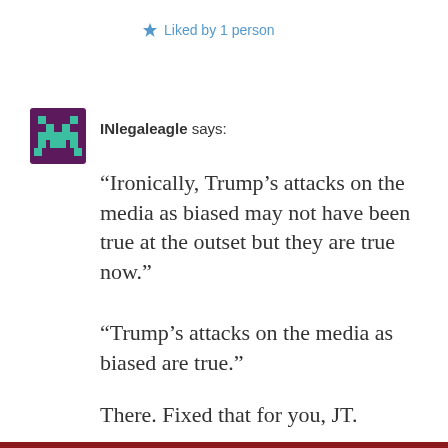Liked by 1 person
INlegaleagle says:
“Ironically, Trump’s attacks on the media as biased may not have been true at the outset but they are true now.”
“Trump’s attacks on the media as biased are true.”
There. Fixed that for you, JT.